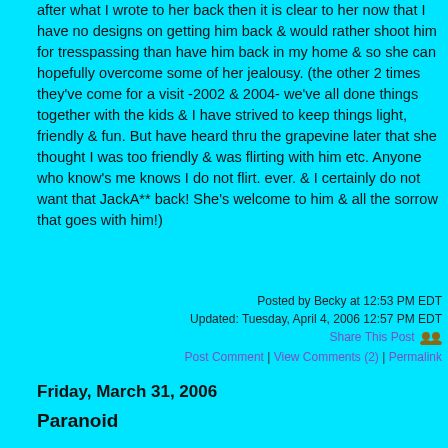after what I wrote to her back then it is clear to her now that I have no designs on getting him back & would rather shoot him for tresspassing than have him back in my home & so she can hopefully overcome some of her jealousy. (the other 2 times they've come for a visit -2002 & 2004- we've all done things together with the kids & I have strived to keep things light, friendly & fun. But have heard thru the grapevine later that she thought I was too friendly & was flirting with him etc. Anyone who know's me knows I do not flirt. ever. & I certainly do not want that JackA** back! She's welcome to him & all the sorrow that goes with him!)
Posted by Becky at 12:53 PM EDT
Updated: Tuesday, April 4, 2006 12:57 PM EDT
Share This Post
Post Comment | View Comments (2) | Permalink
Friday, March 31, 2006
Paranoid